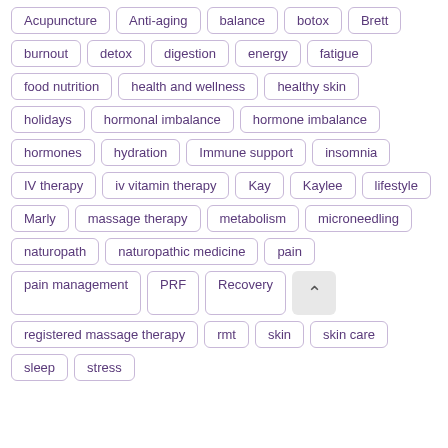Acupuncture, Anti-aging, balance, botox, Brett, burnout, detox, digestion, energy, fatigue, food nutrition, health and wellness, healthy skin, holidays, hormonal imbalance, hormone imbalance, hormones, hydration, Immune support, insomnia, IV therapy, iv vitamin therapy, Kay, Kaylee, lifestyle, Marly, massage therapy, metabolism, microneedling, naturopath, naturopathic medicine, pain, pain management, PRF, Recovery, registered massage therapy, rmt, skin, skin care, sleep, stress